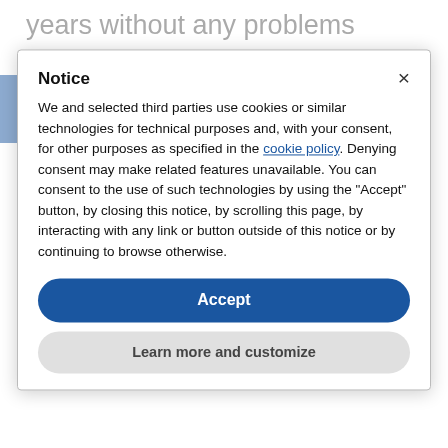years without any problems using only a verbal agreement, it's vital that every IC hire has a properly drafted written
[Figure (other): Accessibility icon (wheelchair symbol) on blue background in top-left corner]
Notice
We and selected third parties use cookies or similar technologies for technical purposes and, with your consent, for other purposes as specified in the cookie policy. Denying consent may make related features unavailable. You can consent to the use of such technologies by using the "Accept" button, by closing this notice, by scrolling this page, by interacting with any link or button outside of this notice or by continuing to browse otherwise.
Accept
Learn more and customize